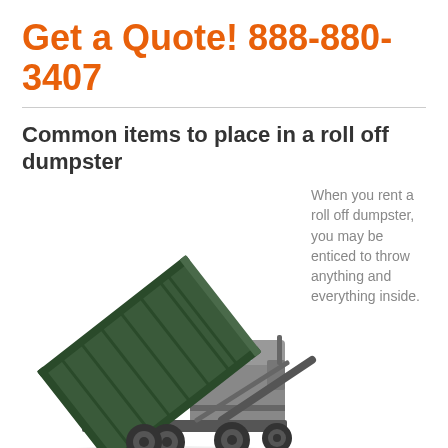Get a Quote! 888-880-3407
Common items to place in a roll off dumpster
[Figure (illustration): A roll-off dumpster truck with the large green dumpster container tilted up on its hydraulic arm, shown on a white background.]
When you rent a roll off dumpster, you may be enticed to throw anything and everything inside.